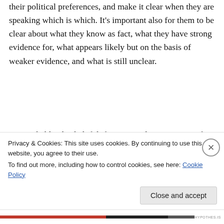their political preferences, and make it clear when they are speaking which is which. It's important also for them to be clear about what they know as fact, what they have strong evidence for, what appears likely but on the basis of weaker evidence, and what is still unclear.
It is probably also helpful if scientists do not stray too far from their area of expertise. This is where they should be most trustworthy, and most
Privacy & Cookies: This site uses cookies. By continuing to use this website, you agree to their use.
To find out more, including how to control cookies, see here: Cookie Policy